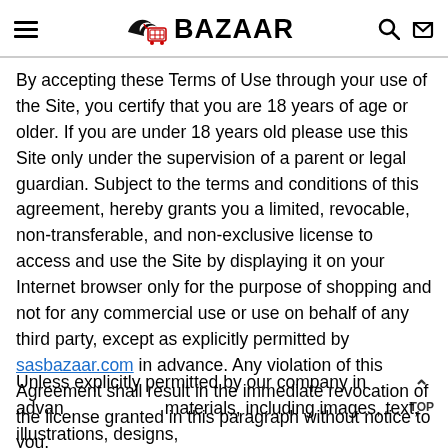SAS BAZAAR
By accepting these Terms of Use through your use of the Site, you certify that you are 18 years of age or older. If you are under 18 years old please use this Site only under the supervision of a parent or legal guardian. Subject to the terms and conditions of this agreement, hereby grants you a limited, revocable, non-transferable, and non-exclusive license to access and use the Site by displaying it on your Internet browser only for the purpose of shopping and not for any commercial use or use on behalf of any third party, except as explicitly permitted by sasbazaar.com in advance. Any violation of this Agreement shall result in the immediate revocation of the license granted in this paragraph without notice to you.
Unless explicitly permitted by our company in advance materials, including images, text, illustrations, designs,